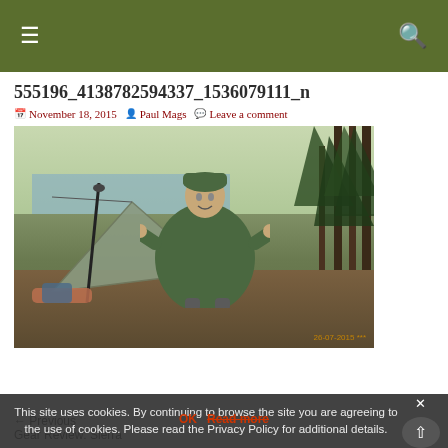≡  [hamburger menu]  [search icon]
555196_4138782594337_1536079111_n
November 18, 2015   Paul Mags   Leave a comment
[Figure (photo): Man in a green sleeping bag/quilt standing outside a tarp shelter among pine trees near a river or lake. He has his arms spread wide and is smiling. Camping gear visible on the ground. Dated 26-07-2015 in the lower right corner.]
This site uses cookies. By continuing to browse the site you are agreeing to the use of cookies. Please read the Privacy Policy for additional details.
OK  Read more
← Previous
Gear Review: Sierra